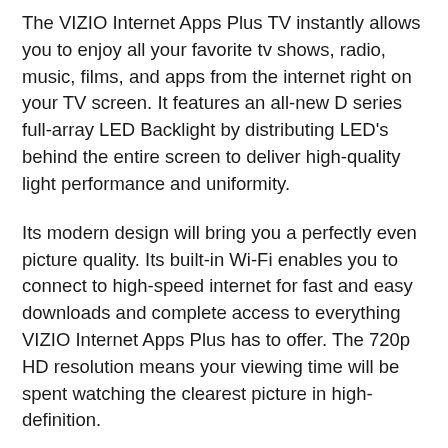The VIZIO Internet Apps Plus TV instantly allows you to enjoy all your favorite tv shows, radio, music, films, and apps from the internet right on your TV screen. It features an all-new D series full-array LED Backlight by distributing LED's behind the entire screen to deliver high-quality light performance and uniformity.
Its modern design will bring you a perfectly even picture quality. Its built-in Wi-Fi enables you to connect to high-speed internet for fast and easy downloads and complete access to everything VIZIO Internet Apps Plus has to offer. The 720p HD resolution means your viewing time will be spent watching the clearest picture in high-definition.
It features two HDMI ports which will allow you to connect your HD devices to the TV to view on the big screen. The VIZIO TV is easy to navigate with a convenient seven-position App Launcher and a full-screen App homepage that will make it easy for you to